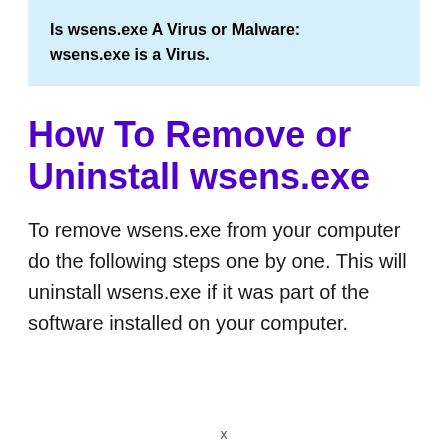Is wsens.exe A Virus or Malware: wsens.exe is a Virus.
How To Remove or Uninstall wsens.exe
To remove wsens.exe from your computer do the following steps one by one. This will uninstall wsens.exe if it was part of the software installed on your computer.
x